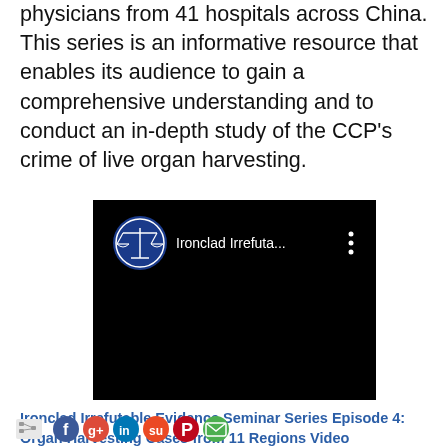physicians from 41 hospitals across China. This series is an informative resource that enables its audience to gain a comprehensive understanding and to conduct an in-depth study of the CCP's crime of live organ harvesting.
[Figure (screenshot): Video thumbnail showing black background with a blue circular seal/logo (scales of justice) and white text 'Ironclad Irrefuta...' with a vertical three-dot menu icon on the right]
Ironclad Irrefutable Evidence Seminar Series Episode 4: Organ Harvesting Cases from 11 Regions Video
[Figure (infographic): Social media sharing icons: share icon, Facebook, Google+, LinkedIn, StumbleUpon, Pinterest, Email]